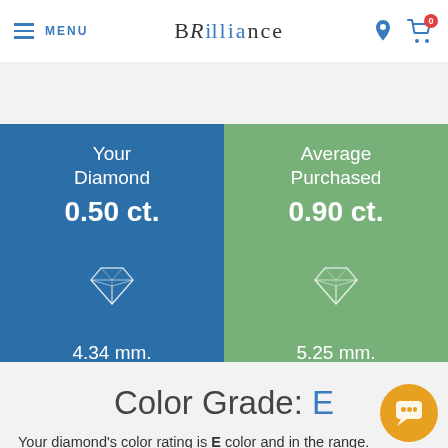MENU | BRILLIANCE
[Figure (infographic): Two-panel comparison infographic. Left panel (blue): Your Diamond 0.50 ct., diamond icon, 4.34 mm. estimated visual size. Right panel (green): Average Purchased 0.90 ct., diamond icon, 5.25 mm. estimated visual size.]
Color Grade: E
Your diamond's color rating is E color and in the range.